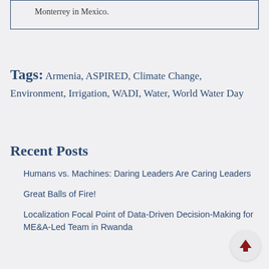Monterrey in Mexico.
Tags: Armenia, ASPIRED, Climate Change, Environment, Irrigation, WADI, Water, World Water Day
Recent Posts
Humans vs. Machines: Daring Leaders Are Caring Leaders
Great Balls of Fire!
Localization Focal Point of Data-Driven Decision-Making for ME&A-Led Team in Rwanda